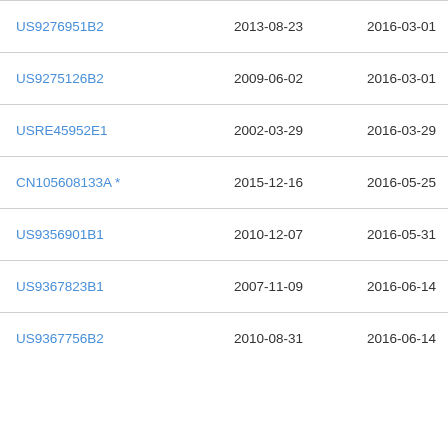| Patent Number | Filing Date | Publication Date | Assignee |
| --- | --- | --- | --- |
| US9276951B2 | 2013-08-23 | 2016-03-01 | The… |
| US9275126B2 | 2009-06-02 | 2016-03-01 | Yah… |
| USRE45952E1 | 2002-03-29 | 2016-03-29 | Go… |
| CN105608133A * | 2015-12-16 | 2016-05-25 | □□□□ |
| US9356901B1 | 2010-12-07 | 2016-05-31 | Go… |
| US9367823B1 | 2007-11-09 | 2016-06-14 | Sky… |
| US9367756B2 | 2010-08-31 | 2016-06-14 | Go… |